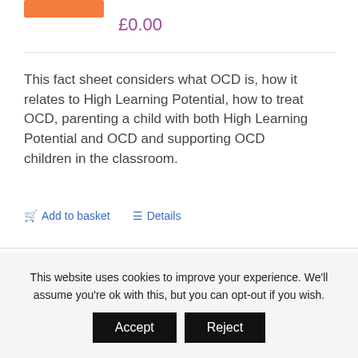[Figure (other): Orange button element (add to basket button top)]
£0.00
This fact sheet considers what OCD is, how it relates to High Learning Potential, how to treat OCD, parenting a child with both High Learning Potential and OCD and supporting OCD children in the classroom.
Add to basket   Details
This website uses cookies to improve your experience. We'll assume you're ok with this, but you can opt-out if you wish.